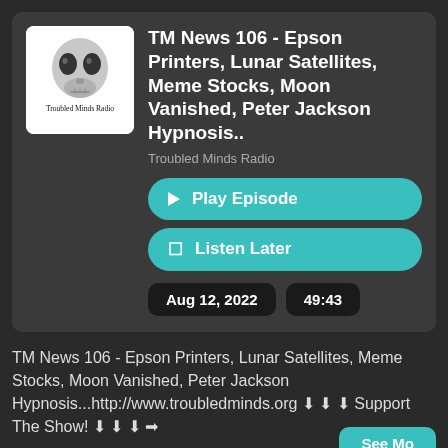[Figure (logo): Troubled Minds Radio logo: alien skull graphic with text 'Troubled Minds Radio' below, white background]
TM News 106 - Epson Printers, Lunar Satellites, Meme Stocks, Moon Vanished, Peter Jackson Hypnosis..
Troubled Minds Radio
▶ Play Episode
🔖 Listen Later
Aug 12, 2022
49:43
TM News 106 - Epson Printers, Lunar Satellites, Meme Stocks, Moon Vanished, Peter Jackson Hypnosis...http://www.troubledminds.org ⬇ ⬇ ⬇ Support The Show! ⬇ ⬇ ⬇ ➡